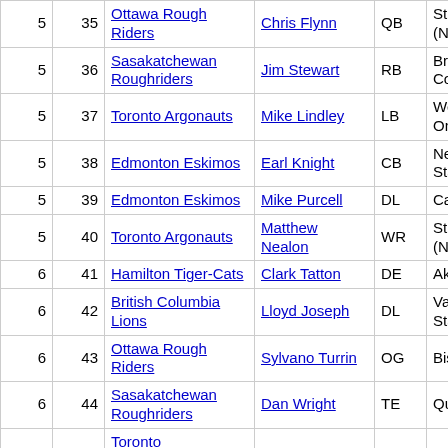| Rd | # | Team | Player | Pos | School |
| --- | --- | --- | --- | --- | --- |
| 5 | 35 | Ottawa Rough Riders | Chris Flynn | QB | St. M (Nov… |
| 5 | 36 | Sasakatchewan Roughriders | Jim Stewart | RB | Britis Colu… |
| 5 | 37 | Toronto Argonauts | Mike Lindley | LB | West Onta… |
| 5 | 38 | Edmonton Eskimos | Earl Knight | CB | New State… |
| 5 | 39 | Edmonton Eskimos | Mike Purcell | DL | Calga… |
| 5 | 40 | Toronto Argonauts | Matthew Nealon | WR | St. M (Nov… |
| 6 | 41 | Hamilton Tiger-Cats | Clark Tatton | DE | Akro… |
| 6 | 42 | British Columbia Lions | Lloyd Joseph | DL | Valle State… |
| 6 | 43 | Ottawa Rough Riders | Sylvano Turrin | OG | Bisho… |
| 6 | 44 | Sasakatchewan Roughriders | Dan Wright | TE | Quee… |
|  |  | Toronto… |  |  |  |